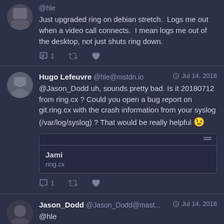@hle Just upgraded ring on debian stretch. Logs me out when a video call connects. I mean logs me out of the desktop, not just shuts ring down.
Hugo Lefeuvre @hle@mstdn.io Jul 14, 2018 @Jason_Dodd uh, sounds pretty bad. Is it 20180712 from ring.cx ? Could you open a bug report on git.ring.cx with the crash information from your syslog (/var/log/syslog) ? That would be really helpful 😉
Jami ring.cx
Jason_Dodd @Jason_Dodd@mast... Jul 14, 2018 @hle